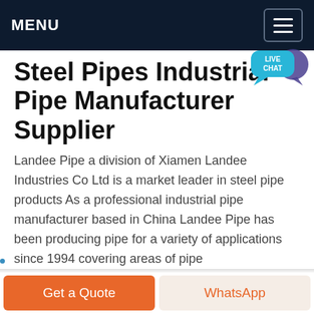MENU
[Figure (other): Live chat speech bubble icon with text LIVE CHAT]
Steel Pipes Industrial Pipe Manufacturer Supplier
Landee Pipe a division of Xiamen Landee Industries Co Ltd is a market leader in steel pipe products As a professional industrial pipe manufacturer based in China Landee Pipe has been producing pipe for a variety of applications since 1994 covering areas of pipe manufacturing exporting and trading
Get price
Get a Quote
WhatsApp